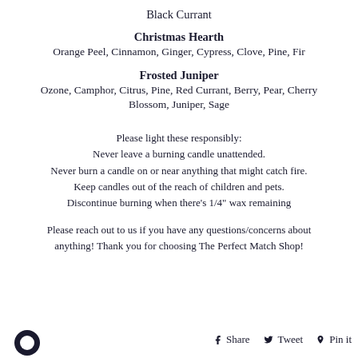Black Currant
Christmas Hearth
Orange Peel, Cinnamon, Ginger, Cypress, Clove, Pine, Fir
Frosted Juniper
Ozone, Camphor, Citrus, Pine, Red Currant, Berry, Pear, Cherry Blossom, Juniper, Sage
Please light these responsibly:
Never leave a burning candle unattended.
Never burn a candle on or near anything that might catch fire.
Keep candles out of the reach of children and pets.
Discontinue burning when there's 1/4" wax remaining
Please reach out to us if you have any questions/concerns about anything! Thank you for choosing The Perfect Match Shop!
Share   Tweet   Pin it